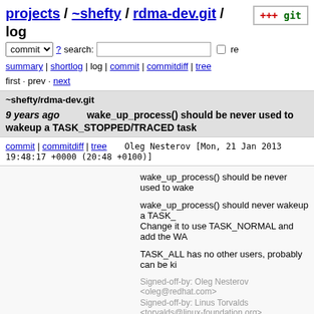projects / ~shefty / rdma-dev.git / log
commit ? search: re
summary | shortlog | log | commit | commitdiff | tree
first · prev · next
~shefty/rdma-dev.git
9 years ago   wake_up_process() should be never used to wakeup a TASK_STOPPED/TRACED task
commit | commitdiff | tree   Oleg Nesterov [Mon, 21 Jan 2013 19:48:17 +0000 (20:48 +0100)]
wake_up_process() should be never used to wake

wake_up_process() should never wakeup a TASK_
Change it to use TASK_NORMAL and add the WA

TASK_ALL has no other users, probably can be ki

Signed-off-by: Oleg Nesterov <oleg@redhat.com>
Signed-off-by: Linus Torvalds <torvalds@linux-foundation.org>
9 years ago   ptrace: ensure arch_ptrace/ptrace_request can never race with SIGKILL